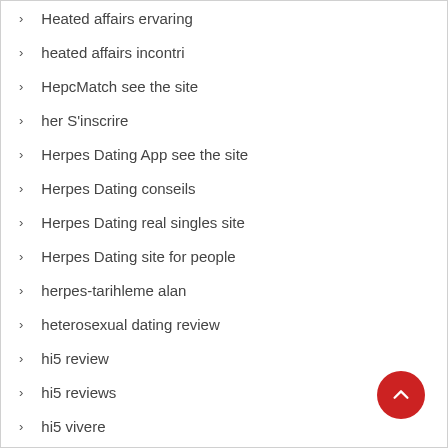Heated affairs ervaring
heated affairs incontri
HepcMatch see the site
her S'inscrire
Herpes Dating App see the site
Herpes Dating conseils
Herpes Dating real singles site
Herpes Dating site for people
herpes-tarihleme alan
heterosexual dating review
hi5 review
hi5 reviews
hi5 vivere
Hi5-inceleme online-dating
hialeah escort index